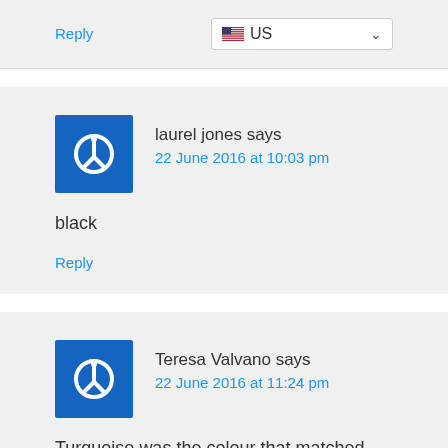Reply
US
laurel jones says
22 June 2016 at 10:03 pm
black
Reply
Teresa Valvano says
22 June 2016 at 11:24 pm
Turquoise was the colour that matched my